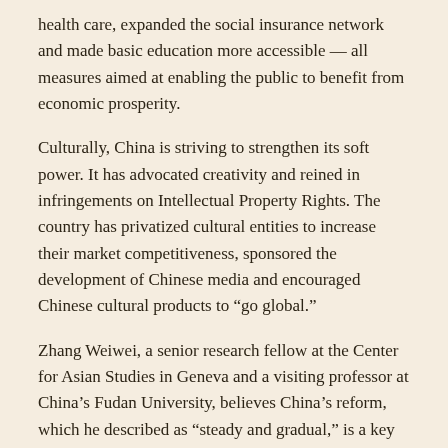health care, expanded the social insurance network and made basic education more accessible — all measures aimed at enabling the public to benefit from economic prosperity.
Culturally, China is striving to strengthen its soft power. It has advocated creativity and reined in infringements on Intellectual Property Rights. The country has privatized cultural entities to increase their market competitiveness, sponsored the development of Chinese media and encouraged Chinese cultural products to “go global.”
Zhang Weiwei, a senior research fellow at the Center for Asian Studies in Geneva and a visiting professor at China’s Fudan University, believes China’s reform, which he described as “steady and gradual,” is a key feature of the “Chinese model” to which he attributes the nation’s success.
The reform that China adopted was different from that of the Soviet Union, where the chosen “shock therapy” led to economically...